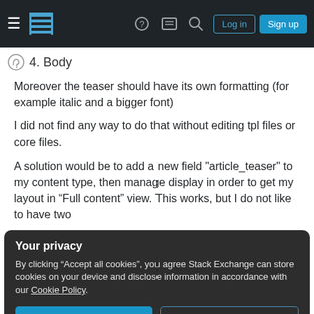Stack Exchange navigation bar with hamburger menu, logo, help, chat, search icons, Log in and Sign up buttons
4. Body
Moreover the teaser should have its own formatting (for example italic and a bigger font)
I did not find any way to do that without editing tpl files or core files.
A solution would be to add a new field "article_teaser" to my content type, then manage display in order to get my layout in “Full content” view. This works, but I do not like to have two
Your privacy
By clicking “Accept all cookies”, you agree Stack Exchange can store cookies on your device and disclose information in accordance with our Cookie Policy.
Is there any way (a module?) to do that?